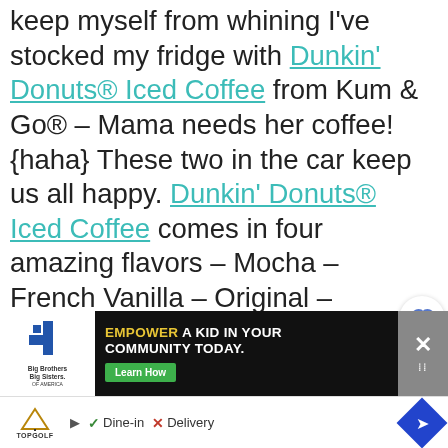keep myself from whining I've stocked my fridge with Dunkin' Donuts® Iced Coffee from Kum & Go® – Mama needs her coffee! {haha} These two in the car keep us all happy. Dunkin' Donuts® Iced Coffee comes in four amazing flavors – Mocha – French Vanilla – Original – Espresso – you should try them all. Find them at your local Kum & Go®.
[Figure (other): Heart (like) button and share button, circular white buttons with shadow]
[Figure (other): What's Next panel showing a golf ball image and text 'Back to School...']
[Figure (other): Big Brothers Big Sisters advertisement banner with text 'EMPOWER A KID IN YOUR COMMUNITY TODAY.' and a Learn How button]
[Figure (other): Bottom navigation bar with TopGolf logo, Dine-in checkmark, Delivery X, and navigation arrow]